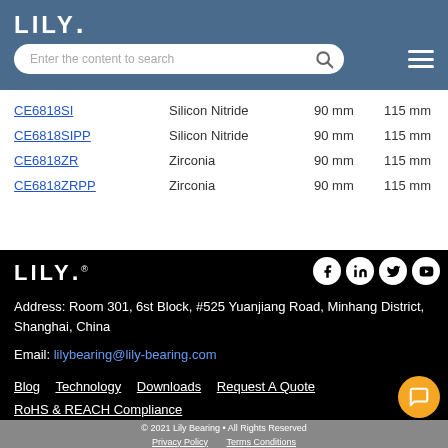LILY.
| Part Number | Material | Bore | OD |
| --- | --- | --- | --- |
| CE6818SI | Silicon Nitride | 90 mm | 115 mm |
| CE6818SIPP | Silicon Nitride | 90 mm | 115 mm |
| CE6818ZR | Zirconia | 90 mm | 115 mm |
| CE6818ZRPP | Zirconia | 90 mm | 115 mm |
[Figure (logo): LILY. logo in white on black footer background]
Address: Room 301, 6st Block, #525 Yuanjiang Road, Minhang District, Shanghai, China
Email: lilybearing@lily-bearing.com
Blog  Technology  Downloads  Request A Quote  RoHS & REACH Compliance
© 2021 Lily Bearing • All Rights Reserved  Privacy Policy  Terms Conditions